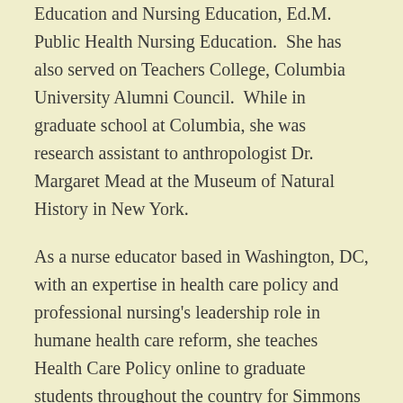Education and Nursing Education, Ed.M. Public Health Nursing Education.  She has also served on Teachers College, Columbia University Alumni Council.  While in graduate school at Columbia, she was research assistant to anthropologist Dr. Margaret Mead at the Museum of Natural History in New York.
As a nurse educator based in Washington, DC, with an expertise in health care policy and professional nursing's leadership role in humane health care reform, she teaches Health Care Policy online to graduate students throughout the country for Simmons University in Boston.
Dr. Fields' expertise is also in community/public/global health nursing, and arts and healing.  She now does global health work in Rwanda, and partnering with a